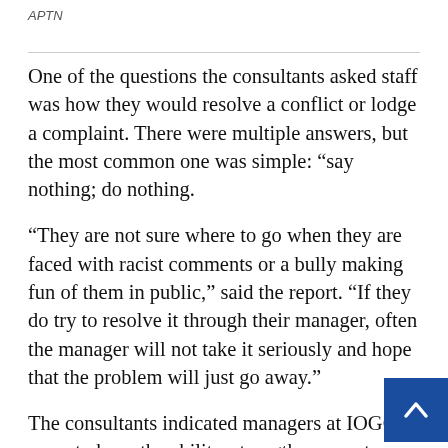APTN
One of the questions the consultants asked staff was how they would resolve a conflict or lodge a complaint. There were multiple answers, but the most common one was simple: “say nothing; do nothing.
“They are not sure where to go when they are faced with racist comments or a bully making fun of them in public,” said the report. “If they do try to resolve it through their manager, often the manager will not take it seriously and hope that the problem will just go away.”
The consultants indicated managers at IOGC di seem to have the ability, strength or care to